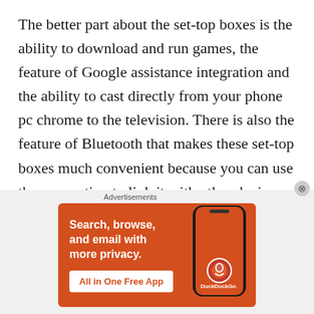The better part about the set-top boxes is the ability to download and run games, the feature of Google assistance integration and the ability to cast directly from your phone pc chrome to the television. There is also the feature of Bluetooth that makes these set-top boxes much convenient because you can use the connection to link it with other devices.
The benefits of these custom android set-top boxes include flexibility, affordability, and
[Figure (screenshot): DuckDuckGo advertisement banner with orange background. Text reads: 'Search, browse, and email with more privacy. All in One Free App'. Shows a phone mockup with DuckDuckGo logo and name.]